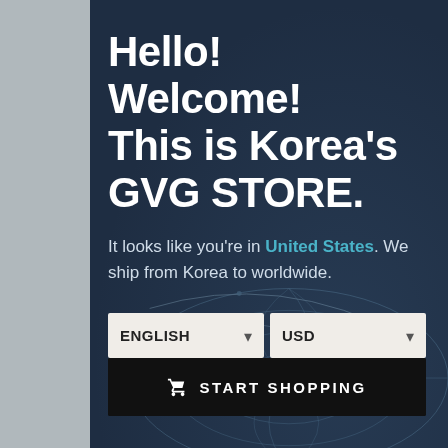Hello! Welcome! This is Korea's GVG STORE.
It looks like you're in United States. We ship from Korea to worldwide.
[Figure (screenshot): Language selector dropdown showing ENGLISH and currency selector showing USD, followed by a START SHOPPING button]